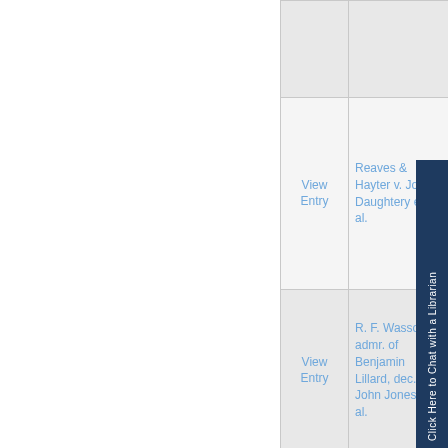| Action | Case Name | County |
| --- | --- | --- |
|  |  |  |
| View Entry | Reaves & Hayter v. John Daughtery et al. |  |
| View Entry | R. F. Wasson, admr. of Benjamin Lillard, dec. v. John Jones, et al. |  |
| View Entry | The Browne& Borum Company v. The Wesco Supply Company | Shelb |
| View Entry | William |  |